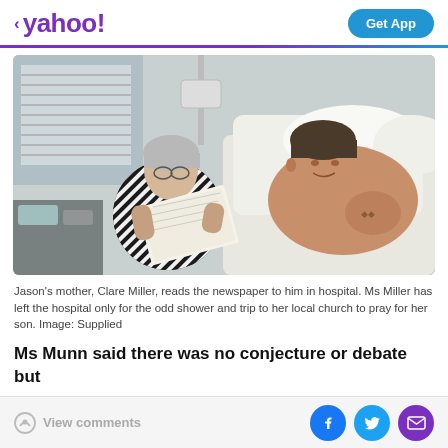< yahoo! | Get App
[Figure (photo): Jason's mother, Clare Miller, reads the newspaper to him in hospital. A woman sits beside a man lying shirtless in a hospital bed, showing him a newspaper/magazine.]
Jason's mother, Clare Miller, reads the newspaper to him in hospital. Ms Miller has left the hospital only for the odd shower and trip to her local church to pray for her son. Image: Supplied
Ms Munn said there was no conjecture or debate but
View comments | [Facebook] [Twitter] [Mail]